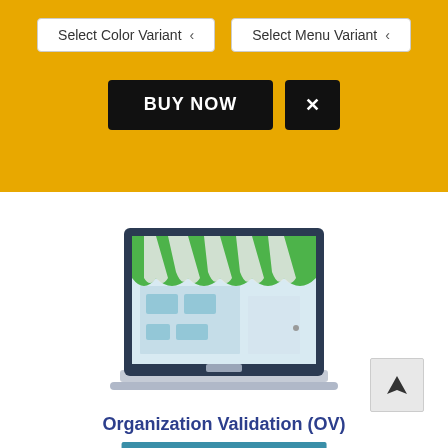[Figure (screenshot): Top yellow bar with 'Select Color Variant' and 'Select Menu Variant' dropdown buttons, a black 'BUY NOW' button, and a black X close button]
[Figure (illustration): A laptop computer displaying a storefront with a green and white striped awning, shelves with items inside, representing an online store]
Organization Validation (OV)
[Figure (screenshot): A teal/blue button labeled ANNE'S TOY STORE]